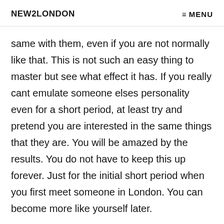NEW2LONDON   ≡ MENU
same with them, even if you are not normally like that. This is not such an easy thing to master but see what effect it has. If you really cant emulate someone elses personality even for a short period, at least try and pretend you are interested in the same things that they are. You will be amazed by the results. You do not have to keep this up forever. Just for the initial short period when you first meet someone in London. You can become more like yourself later.